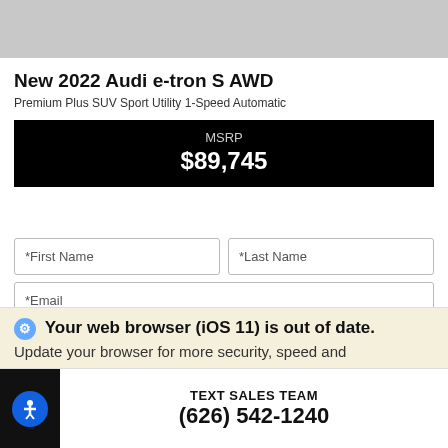[Figure (photo): Top portion of a vehicle listing page showing a car image strip (gray/cut off)]
New 2022 Audi e-tron S AWD
Premium Plus SUV Sport Utility 1-Speed Automatic
MSRP $89,745
*First Name
*Last Name
*Email
Phone
Get Our Best Price
Your web browser (iOS 11) is out of date. Update your browser for more security, speed and
TEXT SALES TEAM
(626) 542-1240